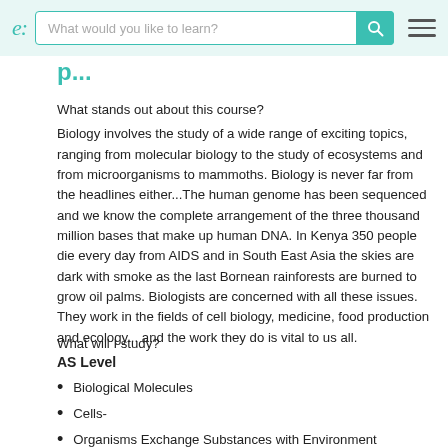What would you like to learn?
p...
What stands out about this course?
Biology involves the study of a wide range of exciting topics, ranging from molecular biology to the study of ecosystems and from microorganisms to mammoths. Biology is never far from the headlines either...The human genome has been sequenced and we know the complete arrangement of the three thousand million bases that make up human DNA. In Kenya 350 people die every day from AIDS and in South East Asia the skies are dark with smoke as the last Bornean rainforests are burned to grow oil palms. Biologists are concerned with all these issues. They work in the fields of cell biology, medicine, food production and ecology... and the work they do is vital to us all.
What will I study?
AS Level
Biological Molecules
Cells-
Organisms Exchange Substances with Environment